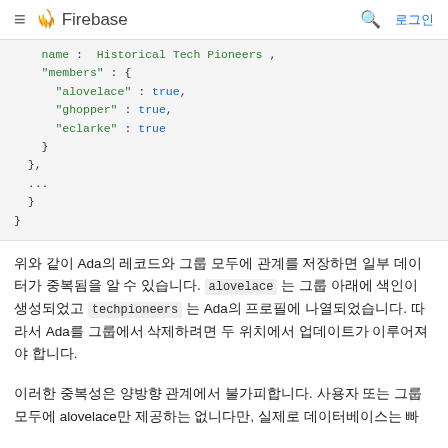Firebase 로그인
[Figure (screenshot): Code block showing JSON structure with name: Historical Tech Pioneers, members: { alovelace: true, ghopper: true, eclarke: true }, },  ...,  },  }]
위와 같이 Ada의 레코드와 그룹 모두에 관계를 저장하면 일부 데이터가 중복됨을 알 수 있습니다. alovelace 는 그룹 아래에 색인이 생성되었고 techpioneers 는 Ada의 프로필에 나열되었습니다. 따라서 Ada를 그룹에서 삭제하려면 두 위치에서 업데이트가 이루어져야 합니다.
이러한 중복성은 양방향 관계에서 불가피합니다. 사용자 또는 그룹 모두에 alovelace만 제공하는 없니다만, 실제로 데이터베이스는 빠